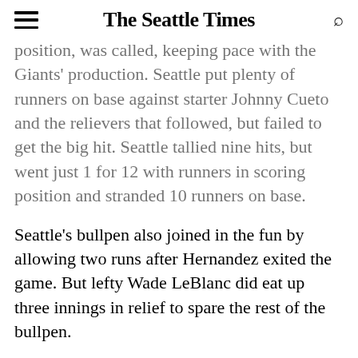The Seattle Times
position, was called, keeping pace with the Giants' production. Seattle put plenty of runners on base against starter Johnny Cueto and the relievers that followed, but failed to get the big hit. Seattle tallied nine hits, but went just 1 for 12 with runners in scoring position and stranded 10 runners on base.
Seattle's bullpen also joined in the fun by allowing two runs after Hernandez exited the game. But lefty Wade LeBlanc did eat up three innings in relief to spare the rest of the bullpen.
Daniel Vogelbach provided Seattle's only run with an RBI double to left field to make it 9-1.
Ryan Divish: 206-464-2232 or